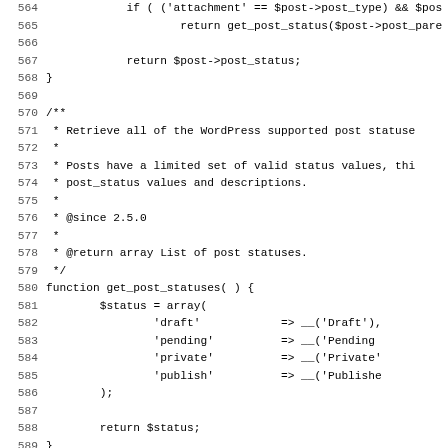Source code listing lines 564-595, PHP WordPress functions including get_post_statuses and get_post_page_statuses with doc comments